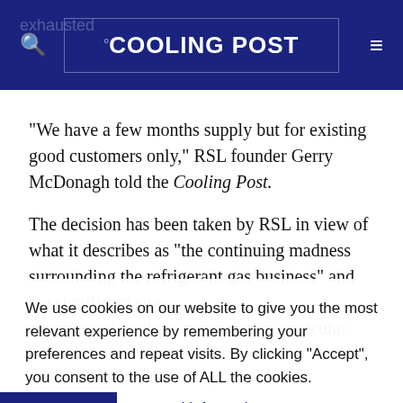°COOLING POST
“We have a few months supply but for existing good customers only,” RSL founder Gerry McDonagh told the Cooling Post.
The decision has been taken by RSL in view of what it describes as “the continuing madness surrounding the refrigerant gas business” and the significant rises experienced by these two gases in particular.
We use cookies on our website to give you the most relevant experience by remembering your preferences and repeat visits. By clicking “Accept”, you consent to the use of ALL the cookies.
Do not sell my personal information.